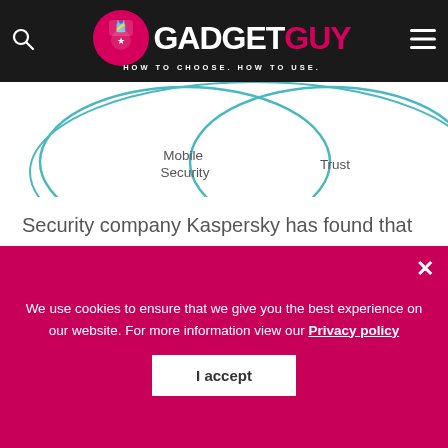GADGETGUY — HOW TO CHOOSE. HOW TO USE.
[Figure (illustration): Partial Venn-style diagram showing overlapping circles with labels including 'Security' and 'Trust', cropped at top of view.]
Security company Kaspersky has found that the tsunami of new smart devices – coffee machines, fridges, cars, speakers, vacuums, speakers and even security cameras themselves inevitably have security failings.
We use cookies to ensure that we give you the best experience on our website. For more information view our Privacy policy